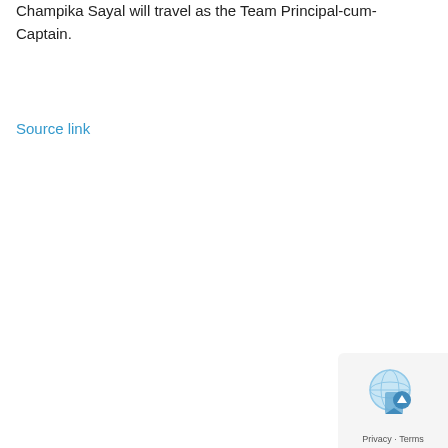Champika Sayal will travel as the Team Principal-cum-Captain.
Source link
[Figure (other): reCAPTCHA / back-to-top widget in the bottom-right corner with a globe icon and Privacy · Terms footer text]